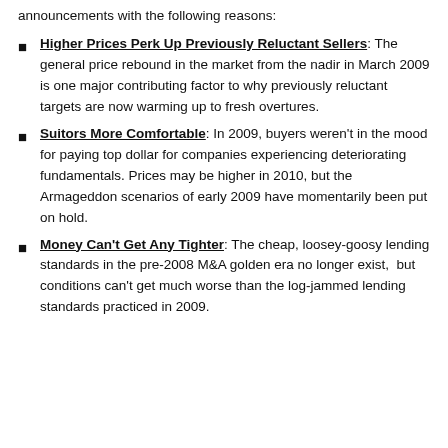announcements with the following reasons:
Higher Prices Perk Up Previously Reluctant Sellers: The general price rebound in the market from the nadir in March 2009 is one major contributing factor to why previously reluctant targets are now warming up to fresh overtures.
Suitors More Comfortable: In 2009, buyers weren't in the mood for paying top dollar for companies experiencing deteriorating fundamentals. Prices may be higher in 2010, but the Armageddon scenarios of early 2009 have momentarily been put on hold.
Money Can't Get Any Tighter: The cheap, loosey-goosy lending standards in the pre-2008 M&A golden era no longer exist,  but conditions can't get much worse than the log-jammed lending standards practiced in 2009.